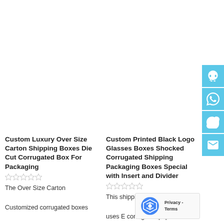[Figure (screenshot): Screenshot of an e-commerce product listing page showing two packaging product cards with sidebar social/contact icons and a reCAPTCHA badge.]
Custom Luxury Over Size Carton Shipping Boxes Die Cut Corrugated Box For Packaging
The Over Size Carton Customized corrugated boxes of various sizes. Corrugated boxes with handles are the best choice for carrying...
Custom Printed Black Logo Glasses Boxes Shocked Corrugated Shipping Packaging Boxes Special with Insert and Divider
This shipping packaging uses E corrugated paper insert and divider. Our materials...